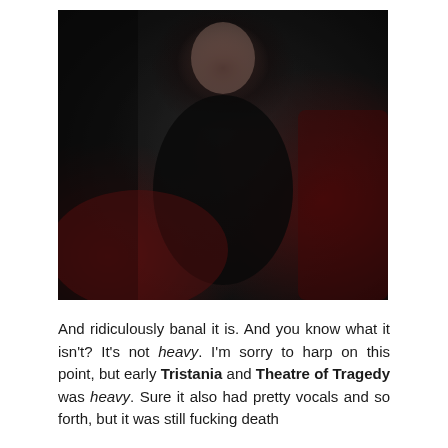[Figure (photo): A woman with long dark hair wearing a black leather corset/bustier with decorative buckles, seated against a dark red draped background. The image has a dark, gothic aesthetic.]
And ridiculously banal it is. And you know what it isn't? It's not heavy. I'm sorry to harp on this point, but early Tristania and Theatre of Tragedy was heavy. Sure it also had pretty vocals and so forth, but it was still fucking death